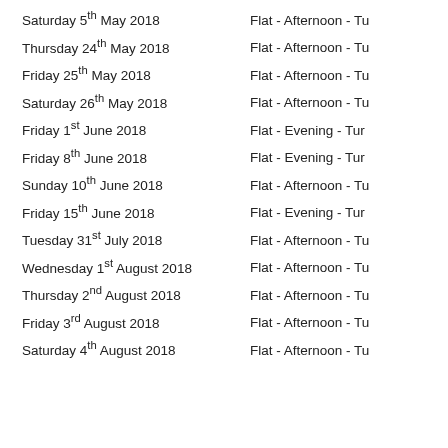Saturday 5th May 2018 | Flat - Afternoon - Tu
Thursday 24th May 2018 | Flat - Afternoon - Tu
Friday 25th May 2018 | Flat - Afternoon - Tu
Saturday 26th May 2018 | Flat - Afternoon - Tu
Friday 1st June 2018 | Flat - Evening - Tur
Friday 8th June 2018 | Flat - Evening - Tur
Sunday 10th June 2018 | Flat - Afternoon - Tu
Friday 15th June 2018 | Flat - Evening - Tur
Tuesday 31st July 2018 | Flat - Afternoon - Tu
Wednesday 1st August 2018 | Flat - Afternoon - Tu
Thursday 2nd August 2018 | Flat - Afternoon - Tu
Friday 3rd August 2018 | Flat - Afternoon - Tu
Saturday 4th August 2018 | Flat - Afternoon - Tu